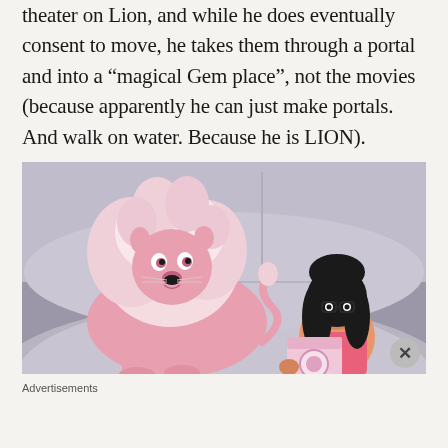theater on Lion, and while he does eventually consent to move, he takes them through a portal and into a “magical Gem place”, not the movies (because apparently he can just make portals. And walk on water. Because he is LION).
[Figure (illustration): Screenshot from Steven Universe animated show showing a large pink lion sitting on the left and a dark-haired character (Steven) on the right looking at a pink cube with a circular gem symbol on it. Background is a curved grey chamber.]
Advertisements
[Figure (screenshot): Jetpack advertisement banner with green background showing Jetpack logo and text, with a white 'Back up your site' button on the right.]